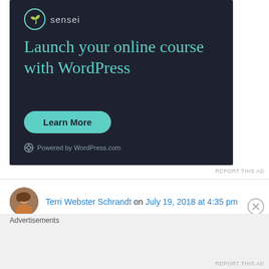[Figure (screenshot): Sensei advertisement banner with dark background. Shows sensei logo, headline 'Launch your online course with WordPress', a 'Learn More' button, and 'Powered by WordPress.com' footer.]
REPORT THIS AD
Terri Webster Schrandt on July 19, 2018 at 4:35 pm
What great timing! I'll be linking up to this post this Sunday with my Sunday Stills challenge for
Advertisements
REPORT THIS AD